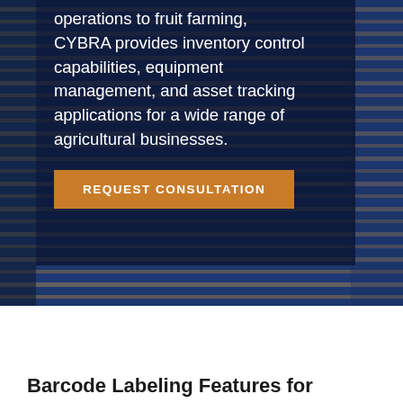[Figure (photo): Aerial view of agricultural fields with blue and brown crop rows, partially overlaid with a dark semi-transparent panel containing white text and an orange CTA button.]
operations to fruit farming, CYBRA provides inventory control capabilities, equipment management, and asset tracking applications for a wide range of agricultural businesses.
REQUEST CONSULTATION
Barcode Labeling Features for